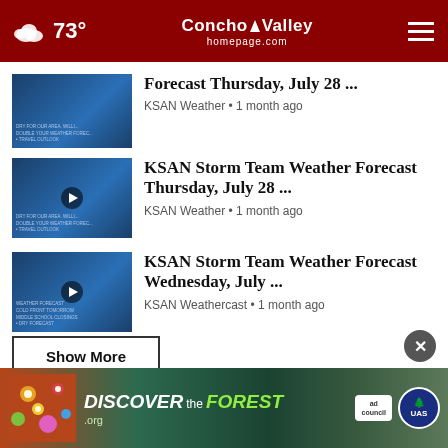73° | Concho Valley homepage.com
Forecast Thursday, July 28 ... | KSAN Weather • 1 month ago
KSAN Storm Team Weather Forecast Thursday, July 28 ... | KSAN Weather • 1 month ago
KSAN Storm Team Weather Forecast Wednesday, July ... | KSAN Weathercast • 1 month ago
Show More
[Figure (advertisement): DISCOVERtheForest.org ad banner with forest imagery, ad council and US Forest Service logos]